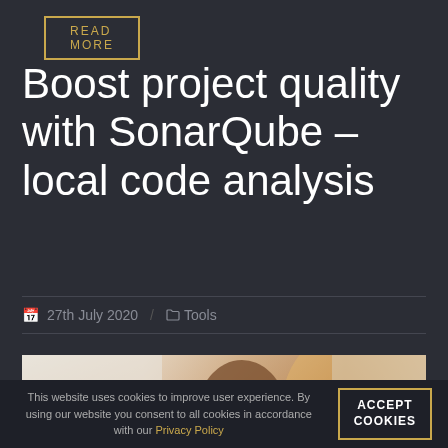READ MORE
Boost project quality with SonarQube – local code analysis
27th July 2020  /  Tools
[Figure (photo): A person seen from behind, with warm golden-hour backlighting and soft blurred background]
This website uses cookies to improve user experience. By using our website you consent to all cookies in accordance with our Privacy Policy
ACCEPT COOKIES